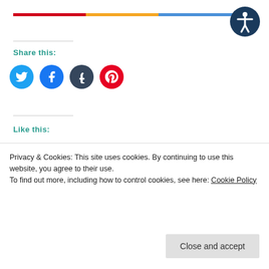[Figure (other): Accessibility icon - circle with person figure in white on dark blue background]
Share this:
[Figure (other): Social media share buttons: Twitter (cyan), Facebook (blue), Tumblr (dark blue), Pinterest (red)]
Like this:
Loading...
Related
Privacy & Cookies: This site uses cookies. By continuing to use this website, you agree to their use.
To find out more, including how to control cookies, see here: Cookie Policy
Close and accept